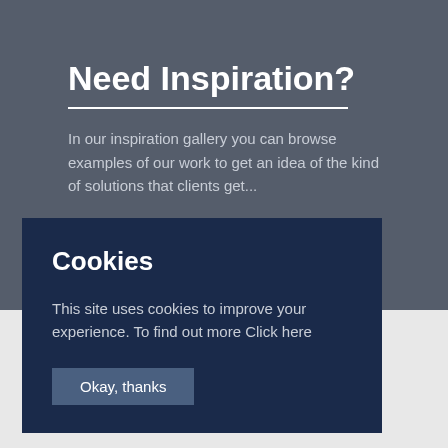Need Inspiration?
In our inspiration gallery you can browse examples of our work to get an idea of the kind of solutions that clients get...
Cookies
This site uses cookies to improve your experience. To find out more Click here